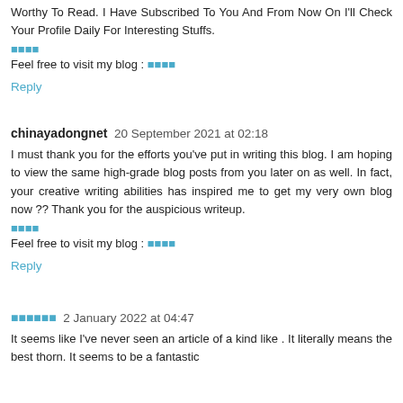Worthy To Read. I Have Subscribed To You And From Now On I'll Check Your Profile Daily For Interesting Stuffs.
■■■■
Feel free to visit my blog : ■■■■
Reply
chinayadongnet 20 September 2021 at 02:18
I must thank you for the efforts you've put in writing this blog. I am hoping to view the same high-grade blog posts from you later on as well. In fact, your creative writing abilities has inspired me to get my very own blog now ?? Thank you for the auspicious writeup.
■■■■
Feel free to visit my blog : ■■■■
Reply
■■■■■■ 2 January 2022 at 04:47
It seems like I've never seen an article of a kind like . It literally means the best thorn. It seems to be a fantastic